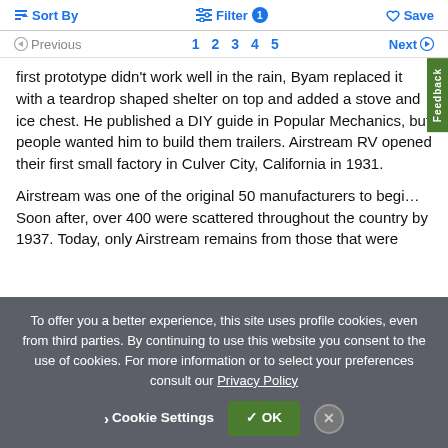Sort By   Filter 1   Save
Previous  1  2  3  4  5  Next
first prototype didn't work well in the rain, Byam replaced it with a teardrop shaped shelter on top and added a stove and ice chest. He published a DIY guide in Popular Mechanics, but people wanted him to build them trailers. Airstream RV opened their first small factory in Culver City, California in 1931.
Airstream was one of the original 50 manufacturers to begi… Soon after, over 400 were scattered throughout the country by 1937. Today, only Airstream remains from those that were
To offer you a better experience, this site uses profile cookies, even from third parties. By continuing to use this website you consent to the use of cookies. For more information or to select your preferences consult our Privacy Policy
Cookie Settings   ✓ OK   ✕